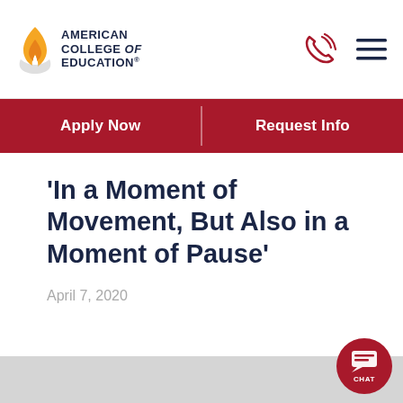AMERICAN COLLEGE of EDUCATION
Apply Now | Request Info
‘In a Moment of Movement, But Also in a Moment of Pause’
April 7, 2020